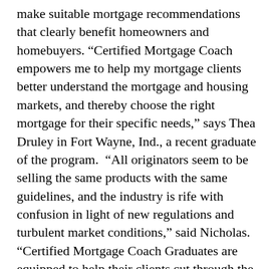make suitable mortgage recommendations that clearly benefit homeowners and homebuyers. “Certified Mortgage Coach empowers me to help my mortgage clients better understand the mortgage and housing markets, and thereby choose the right mortgage for their specific needs,” says Thea Druley in Fort Wayne, Ind., a recent graduate of the program. “All originators seem to be selling the same products with the same guidelines, and the industry is rife with confusion in light of new regulations and turbulent market conditions,” said Nicholas. “Certified Mortgage Coach Graduates are equipped to help their clients cut through the confusion and make informed financial decisions. A mortgage professional who dedicates the time and effort to properly educate